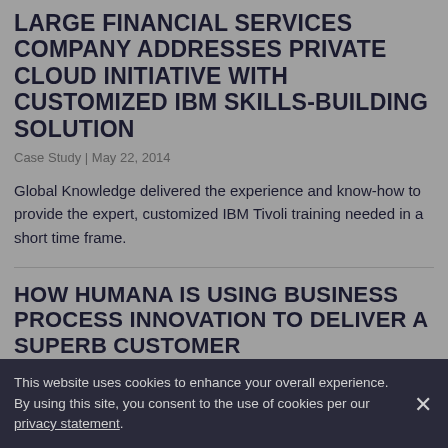LARGE FINANCIAL SERVICES COMPANY ADDRESSES PRIVATE CLOUD INITIATIVE WITH CUSTOMIZED IBM SKILLS-BUILDING SOLUTION
Case Study | May 22, 2014
Global Knowledge delivered the experience and know-how to provide the expert, customized IBM Tivoli training needed in a short time frame.
HOW HUMANA IS USING BUSINESS PROCESS INNOVATION TO DELIVER A SUPERB CUSTOMER
This website uses cookies to enhance your overall experience. By using this site, you consent to the use of cookies per our privacy statement.